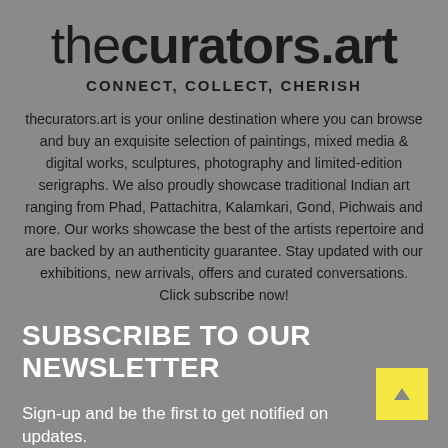thecurators.art
CONNECT, COLLECT, CHERISH
thecurators.art is your online destination where you can browse and buy an exquisite selection of paintings, mixed media & digital works, sculptures, photography and limited-edition serigraphs. We also proudly showcase traditional Indian art ranging from Phad, Pattachitra, Kalamkari, Gond, Pichwais and more. Our works showcase the best of the artists repertoire and are backed by an authenticity guarantee. Stay updated with our exhibitions, new arrivals, offers and curated conversations. Click subscribe now!
SUBSCRIBE TO OUR NEWSLETTER
Sign-up and be the first to get notified on updates.